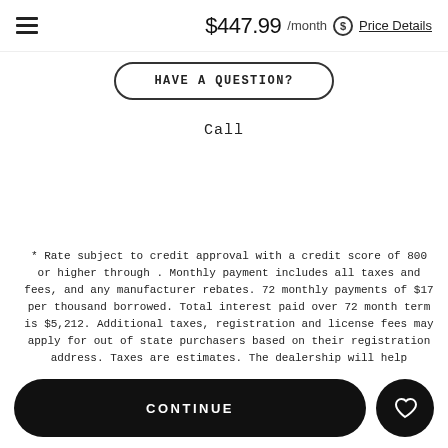$447.99 /month Price Details
HAVE A QUESTION?
Call
* Rate subject to credit approval with a credit score of 800 or higher through . Monthly payment includes all taxes and fees, and any manufacturer rebates. 72 monthly payments of $17 per thousand borrowed. Total interest paid over 72 month term is $5,212. Additional taxes, registration and license fees may apply for out of state purchasers based on their registration address. Taxes are estimates. The dealership will help determine accurate taxes prior to delivery. Fuel Economy values are estimates and based on model year EPA mileage ratings. Use for
CONTINUE